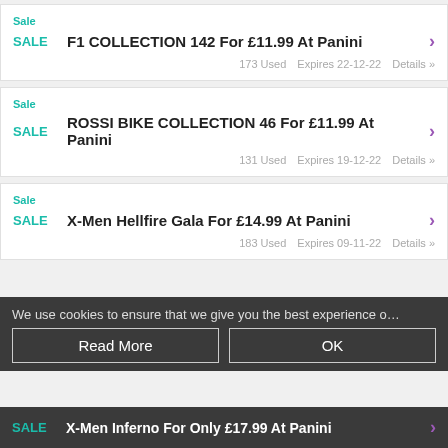Sale | F1 COLLECTION 142 For £11.99 At Panini | 173 Used | Expires 22-12-22 | Details »
Sale | ROSSI BIKE COLLECTION 46 For £11.99 At Panini | 131 Used | Expires 19-12-22 | Details »
Sale | X-Men Hellfire Gala For £14.99 At Panini | 183 Used | Expires 09-11-22 | Details »
We use cookies to ensure that we give you the best experience o…
Sale | X-Men Inferno For Only £17.99 At Panini | Details »